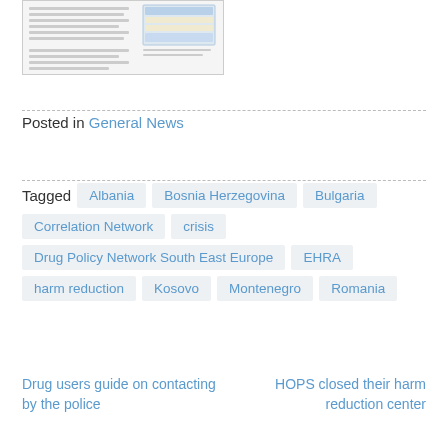[Figure (screenshot): Thumbnail image of a document page with text and a table/chart]
Posted in General News
Albania
Bosnia Herzegovina
Bulgaria
Correlation Network
crisis
Drug Policy Network South East Europe
EHRA
harm reduction
Kosovo
Montenegro
Romania
Drug users guide on contacting by the police
HOPS closed their harm reduction center